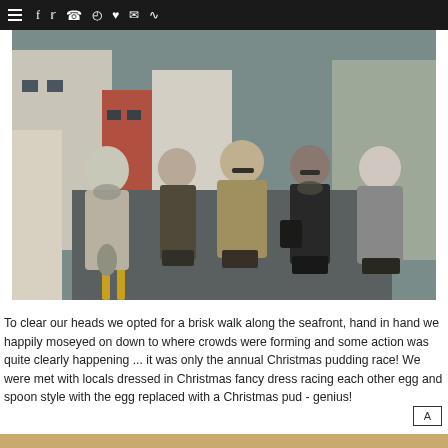≡ f t ℗ ☷ ♥ ✉ ☌
[Figure (photo): Five women walking together down a wet street in winter coats and scarves, smiling at the camera. Red-brick and white buildings visible in background.]
To clear our heads we opted for a brisk walk along the seafront, hand in hand we happily moseyed on down to where crowds were forming and some action was quite clearly happening ... it was only the annual Christmas pudding race! We were met with locals dressed in Christmas fancy dress racing each other egg and spoon style with the egg replaced with a Christmas pud - genius!